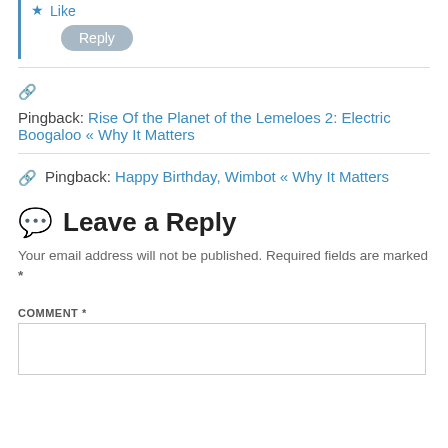Like Reply
Pingback: Rise Of the Planet of the Lemeloes 2: Electric Boogaloo « Why It Matters
Pingback: Happy Birthday, Wimbot « Why It Matters
Leave a Reply
Your email address will not be published. Required fields are marked *
COMMENT *